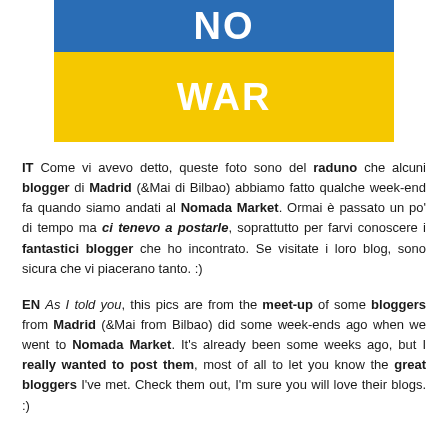[Figure (illustration): Ukrainian flag-colored NO WAR banner: blue rectangle on top with white text 'NO', yellow rectangle below with white text 'WAR']
IT Come vi avevo detto, queste foto sono del raduno che alcuni blogger di Madrid (&Mai di Bilbao) abbiamo fatto qualche week-end fa quando siamo andati al Nomada Market. Ormai è passato un po' di tempo ma ci tenevo a postarle, soprattutto per farvi conoscere i fantastici blogger che ho incontrato. Se visitate i loro blog, sono sicura che vi piacerano tanto. :)
EN As I told you, this pics are from the meet-up of some bloggers from Madrid (&Mai from Bilbao) did some week-ends ago when we went to Nomada Market. It's already been some weeks ago, but I really wanted to post them, most of all to let you know the great bloggers I've met. Check them out, I'm sure you will love their blogs. :)